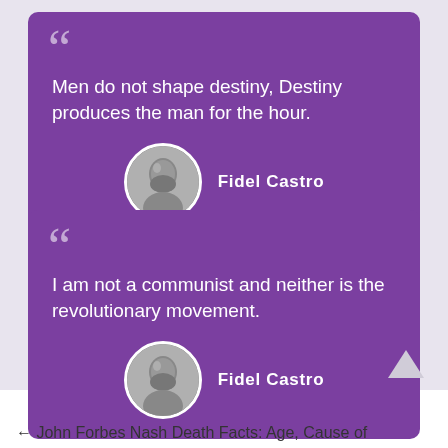Men do not shape destiny, Destiny produces the man for the hour.
Fidel Castro
I am not a communist and neither is the revolutionary movement.
Fidel Castro
John Forbes Nash Death Facts: Age, Cause of